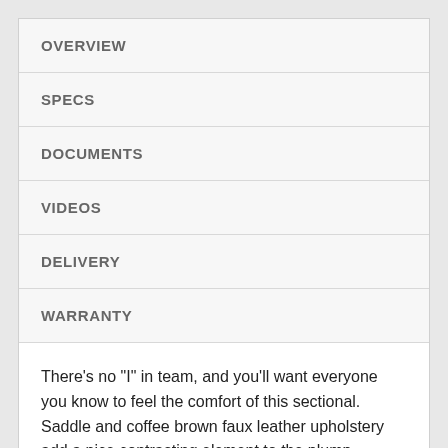OVERVIEW
SPECS
DOCUMENTS
VIDEOS
DELIVERY
WARRANTY
There's no "I" in team, and you'll want everyone you know to feel the comfort of this sectional. Saddle and coffee brown faux leather upholstery add a nice contrasting element to the plump cushions. Take it a step further with jumbo stitching that makes the